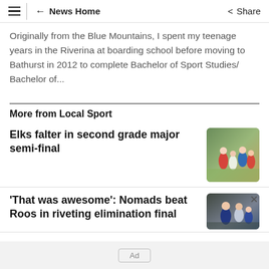News Home  Share
Originally from the Blue Mountains, I spent my teenage years in the Riverina at boarding school before moving to Bathurst in 2012 to complete Bachelor of Sport Studies/ Bachelor of...
More from Local Sport
Elks falter in second grade major semi-final
[Figure (photo): Rugby players in action during a match]
'That was awesome': Nomads beat Roos in riveting elimination final
[Figure (photo): Sports players, one in dark blue/white uniform]
Ad